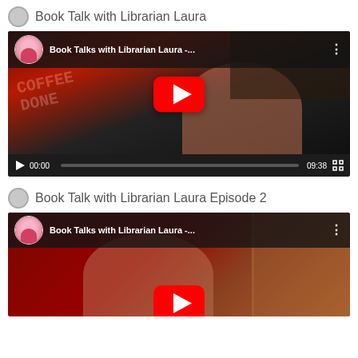Book Talk with Librarian Laura
[Figure (screenshot): YouTube embedded video player showing 'Book Talks with Librarian Laura -...' with a thumbnail of a woman talking in front of a bookshelf/red background. Video duration 09:38, time shown 00:00. Red YouTube play button overlay visible.]
Book Talk with Librarian Laura Episode 2
[Figure (screenshot): YouTube embedded video player showing 'Book Talks with Librarian Laura -...' with a thumbnail of a woman talking in front of a red/brown curtain background. Partial red YouTube play button visible at bottom.]